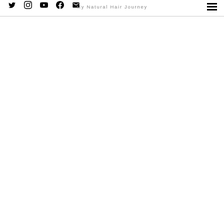Social icons (Twitter, Instagram, YouTube, Facebook, Email) | My Natural Hair Journey | Hamburger menu